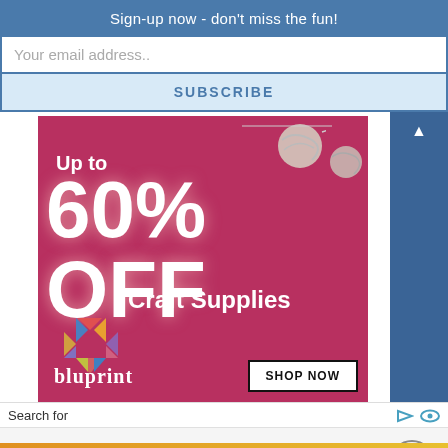Sign-up now - don't miss the fun!
Your email address..
SUBSCRIBE
[Figure (illustration): Bluprint advertisement banner with magenta/pink background showing 'Up to 60% OFF Craft Supplies' with yarn ball decorations, colorful heart-shaped logo made of triangles, bluprint text, and a SHOP NOW button]
Search for
1.  75% Off Furniture Sale